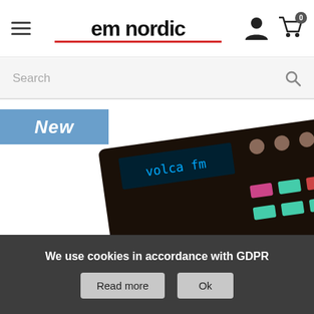em nordic
Search
New
[Figure (photo): KORG volca fm synthesizer product photo, dark unit with knobs, sliders, buttons and keyboard pads, shown from a top-angle perspective]
We use cookies in accordance with GDPR
Read more
Ok